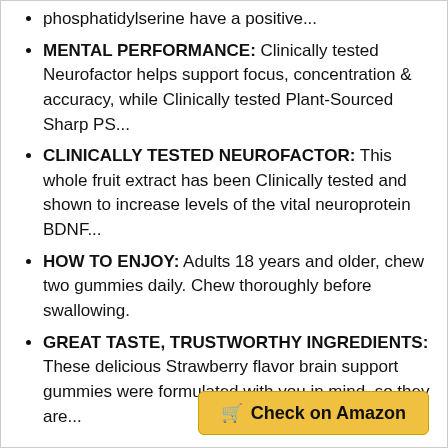phosphatidylserine have a positive...
MENTAL PERFORMANCE: Clinically tested Neurofactor helps support focus, concentration & accuracy, while Clinically tested Plant-Sourced Sharp PS...
CLINICALLY TESTED NEUROFACTOR: This whole fruit extract has been Clinically tested and shown to increase levels of the vital neuroprotein BDNF...
HOW TO ENJOY: Adults 18 years and older, chew two gummies daily. Chew thoroughly before swallowing.
GREAT TASTE, TRUSTWORTHY INGREDIENTS: These delicious Strawberry flavor brain support gummies were formulated with you in mind, so they are...
Check on Amazon